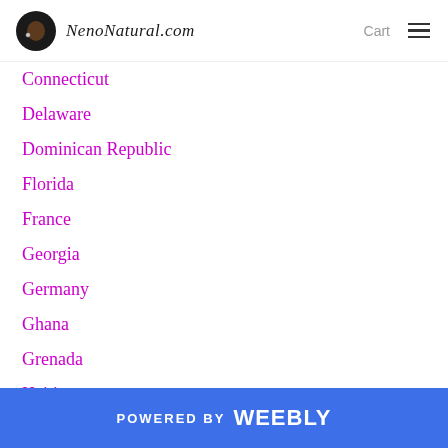NenoNatural.com  Cart
Connecticut
Delaware
Dominican Republic
Florida
France
Georgia
Germany
Ghana
Grenada
Haiti
Hawaii
Honduras
Houston Texas
POWERED BY weebly